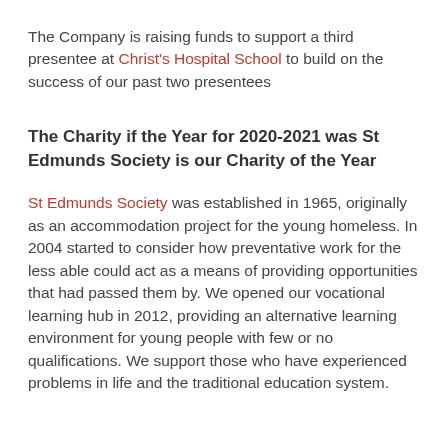The Company is raising funds to support a third presentee at Christ's Hospital School to build on the success of our past two presentees
The Charity if the Year for 2020-2021 was St Edmunds Society is our Charity of the Year
St Edmunds Society was established in 1965, originally as an accommodation project for the young homeless. In 2004 started to consider how preventative work for the less able could act as a means of providing opportunities that had passed them by. We opened our vocational learning hub in 2012, providing an alternative learning environment for young people with few or no qualifications. We support those who have experienced problems in life and the traditional education system.